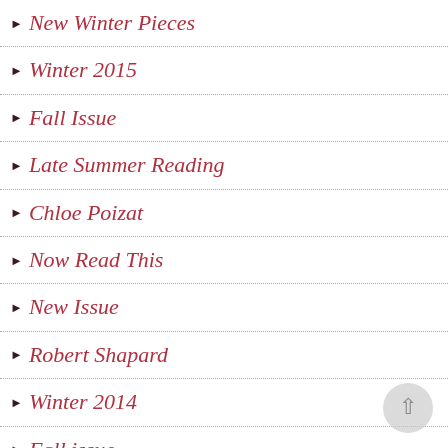New Winter Pieces
Winter 2015
Fall Issue
Late Summer Reading
Chloe Poizat
Now Read This
New Issue
Robert Shapard
Winter 2014
Fall issue
Gary Percesepe ~ Notes From Buffalo, August 9, 2013
James Whorton Jr.